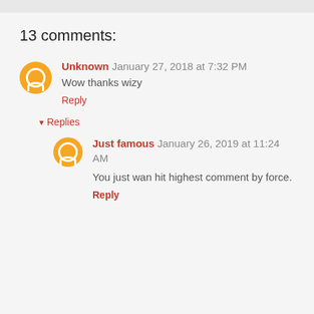13 comments:
Unknown January 27, 2018 at 7:32 PM
Wow thanks wizy
Reply
Replies
Just famous January 26, 2019 at 11:24 AM
You just wan hit highest comment by force.
Reply